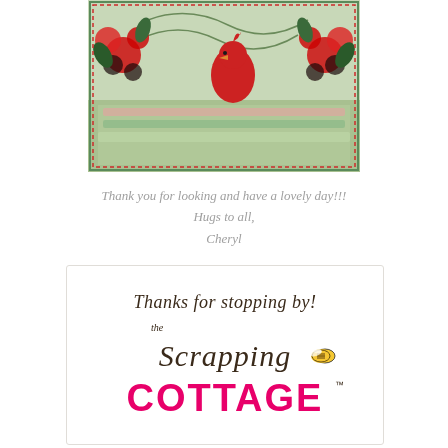[Figure (photo): A handmade greeting card featuring a red cardinal bird, red floral decorations/blooms, green gingham patterned paper layers, and swirly vine embellishments on a light background.]
Thank you for looking and have a lovely day!!!
Hugs to all,
Cheryl
[Figure (logo): The Scrapping Cottage logo banner: 'Thanks for stopping by!' in brown script at top, then 'the Scrapping' in brown cursive script, and 'COTTAGE' in large hot pink bold letters, with a small bee illustration, on a white background with light border.]